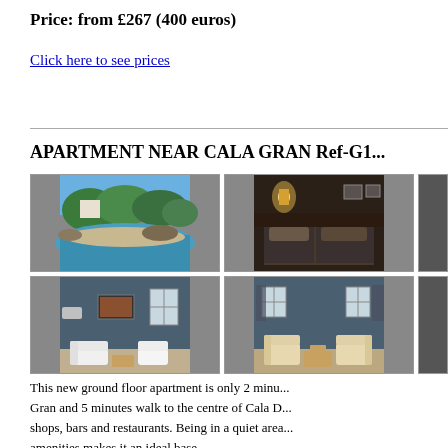Price: from £267 (400 euros)
Click here to see prices
APARTMENT NEAR CALA GRAN Ref-G1...
[Figure (photo): 4 apartment photos in a 2x2 grid: beach cove with trees, bedroom with twin beds, living room with sofa (teal walls), living room with armchairs (teal walls). Two partial images on the right edge are cut off.]
This new ground floor apartment is only 2 minu... Gran and 5 minutes walk to the centre of Cala D... shops, bars and restaurants. Being in a quiet area... amenities makes it an ideal base...